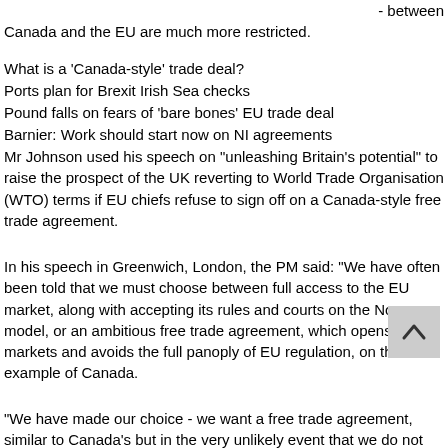- between Canada and the EU are much more restricted.
What is a 'Canada-style' trade deal?
Ports plan for Brexit Irish Sea checks
Pound falls on fears of 'bare bones' EU trade deal
Barnier: Work should start now on NI agreements
Mr Johnson used his speech on "unleashing Britain's potential" to raise the prospect of the UK reverting to World Trade Organisation (WTO) terms if EU chiefs refuse to sign off on a Canada-style free trade agreement.
In his speech in Greenwich, London, the PM said: "We have often been told that we must choose between full access to the EU market, along with accepting its rules and courts on the Norway model, or an ambitious free trade agreement, which opens up markets and avoids the full panoply of EU regulation, on the example of Canada.
"We have made our choice - we want a free trade agreement, similar to Canada's but in the very unlikely event that we do not...